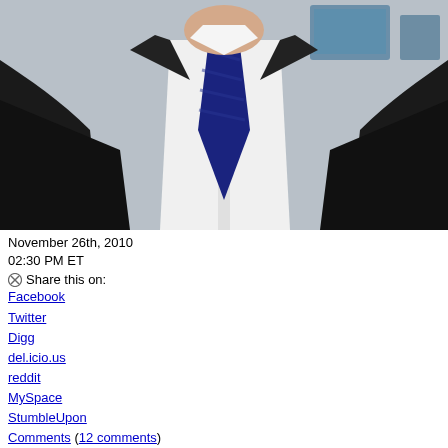[Figure (photo): Photo of a man in a dark suit with a navy blue tie and white shirt, cropped to show torso and lower face only, with a blurred office background]
November 26th, 2010
02:30 PM ET
Share this on:
Facebook
Twitter
Digg
del.icio.us
reddit
MySpace
StumbleUpon
Comments (12 comments)
Brendan Fraser's play closes after a week
He may have defeated "The Mummy," but it seems Brendan Fraser is no match for Broadway's Great White Way. Just a week after making his Broadway debut with the official opening of "Elling," the production is already set to close.